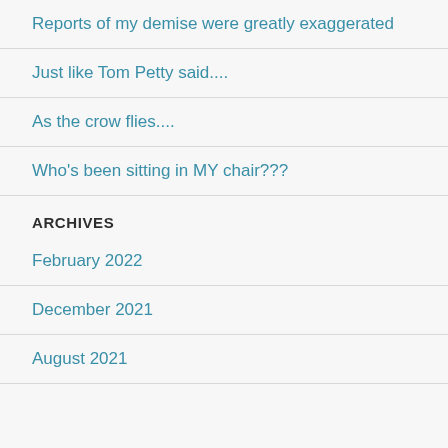Reports of my demise were greatly exaggerated
Just like Tom Petty said....
As the crow flies....
Who's been sitting in MY chair???
ARCHIVES
February 2022
December 2021
August 2021